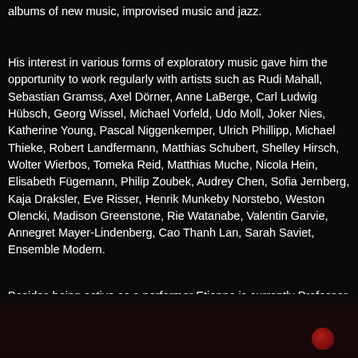albums of new music, improvised music and jazz.
His interest in various forms of exploratory music gave him the opportunity to work regularly with artists such as Rudi Mahall, Sebastian Gramss, Axel Dörner, Anne LaBerge, Carl Ludwig Hübsch, Georg Wissel, Michael Vorfeld, Udo Moll, Joker Nies, Katherine Young, Pascal Niggenkemper, Ulrich Phillipp, Michael Thieke, Robert Landfermann, Matthias Schubert, Shelley Hirsch, Wolter Wierbos, Tomeka Reid, Matthias Muche, Nicola Hein, Elisabeth Fügemann, Philip Zoubek, Audrey Chen, Sofia Jernberg, Kaja Draksler, Eve Risser, Henrik Munkeby Norstebo, Weston Olencki, Madison Greenstone, Rie Watanabe, Valentin Garvie, Annegret Mayer-Lindenberg, Cao Thanh Lan, Sarah Saviet, Ensemble Modern.
Besides being active as a performer Etienne is currently Professor of Music at the ArtEZ University of the Arts in The Netherlands, where he teaches drums and improvised music.